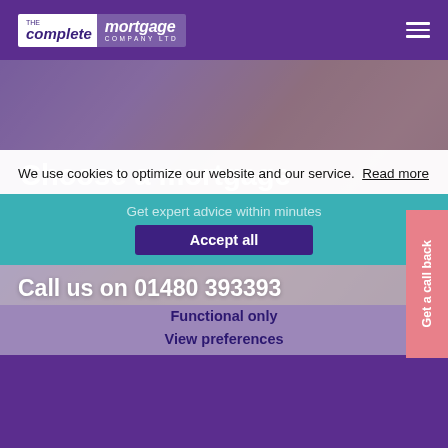[Figure (logo): The Complete Mortgage Company Ltd logo — white background with purple text 'the complete' italic and purple box with white 'mortgage COMPANY LTD']
[Figure (photo): Background hero image showing a handshake or person, overlaid with purple tint]
Choose a mortgage broker in St Ives that you can trust
We use cookies to optimize our website and our service. Read more
Get expert advice within minutes
Accept all
Call us on 01480 393393
Functional only
View preferences
Get a call back